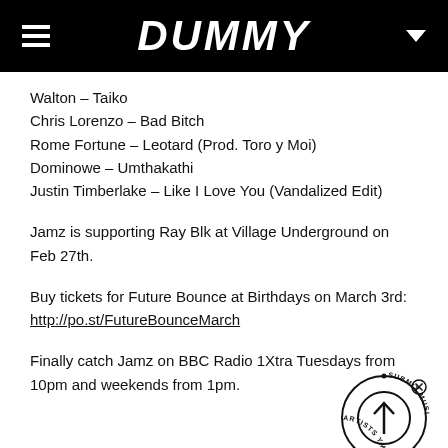DUMMY
Walton – Taiko
Chris Lorenzo – Bad Bitch
Rome Fortune – Leotard (Prod. Toro y Moi)
Dominowe – Umthakathi
Justin Timberlake – Like I Love You (Vandalized Edit)
Jamz is supporting Ray Blk at Village Underground on Feb 27th.
Buy tickets for Future Bounce at Birthdays on March 3rd: http://po.st/FutureBounceMarch
Finally catch Jamz on BBC Radio 1Xtra Tuesdays from 10pm and weekends from 1pm.
[Figure (logo): Circular badge with arrow pointing up and text 'DMY ARTISTS • SUBMIT MUSIC' around the circle with an X mark at top right]